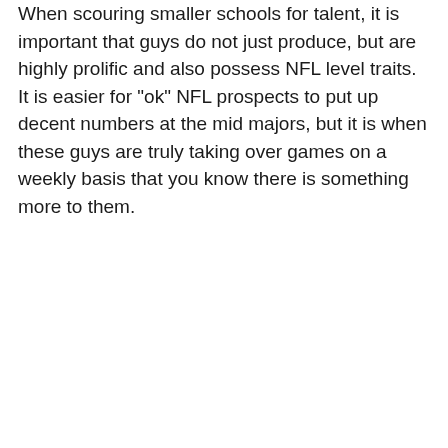When scouring smaller schools for talent, it is important that guys do not just produce, but are highly prolific and also possess NFL level traits. It is easier for "ok" NFL prospects to put up decent numbers at the mid majors, but it is when these guys are truly taking over games on a weekly basis that you know there is something more to them.